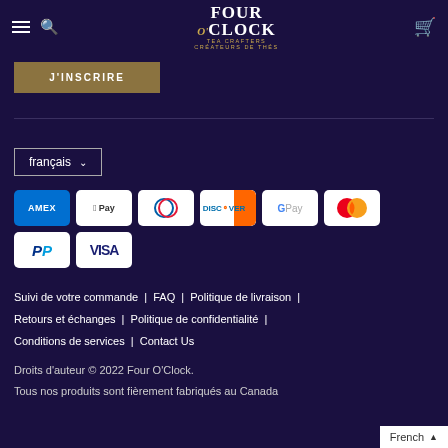Four O'Clock Tea Crafters Créateurs de Thés
[Figure (other): J'INSCRIRE subscribe button (gold/brown background)]
[Figure (other): Language selector dropdown showing 'français']
[Figure (other): Payment method icons: American Express, Apple Pay, Diners Club, Discover, Google Pay, Mastercard, PayPal, Visa]
Suivi de votre commande | FAQ | Politique de livraison | Retours et échanges | Politique de confidentialité | Conditions de services | Contact Us
Droits d'auteur © 2022 Four O'Clock.
Tous nos produits sont fièrement fabriqués au Canada
French